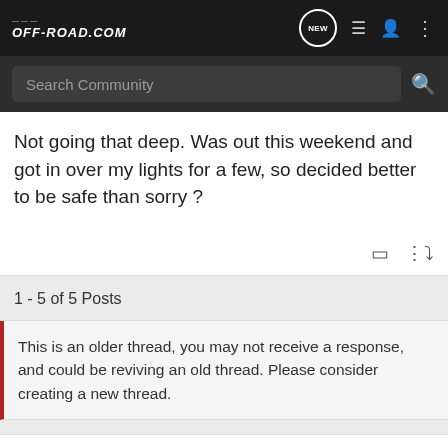OFF-ROAD.COM
Search Community
Not going that deep. Was out this weekend and got in over my lights for a few, so decided better to be safe than sorry ?
1 - 5 of 5 Posts
This is an older thread, you may not receive a response, and could be reviving an old thread. Please consider creating a new thread.